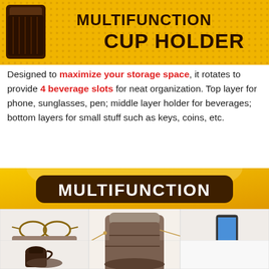[Figure (infographic): Top banner: yellow/golden background with dark brown coffee cup image and bold text 'MULTIFUNCTION CUP HOLDER' in dark brown]
Designed to maximize your storage space, it rotates to provide 4 beverage slots for neat organization. Top layer for phone, sunglasses, pen; middle layer holder for beverages; bottom layers for small stuff such as keys, coins, etc.
[Figure (infographic): Yellow banner with dark brown rounded rectangle containing white bold text 'MULTIFUNCTION']
[Figure (infographic): Grid of product images showing: sunglass holder (left), center cup holder product, smartphones holder (right), and bottom-left shows beverage/thermos]
SUNGLASS HOLDER
SMARTPHONES